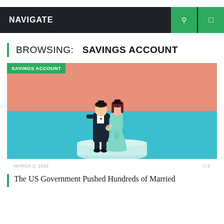NAVIGATE
BROWSING:  SAVINGS ACCOUNT
[Figure (photo): Wedding cake topper figurines of a bride and groom wearing graduation caps, set against a split salmon-pink and teal-blue background. A green 'SAVINGS ACCOUNT' tag badge overlays the top-left corner.]
MARCH 2, 2022
0
The US Government Pushed Hundreds of Married